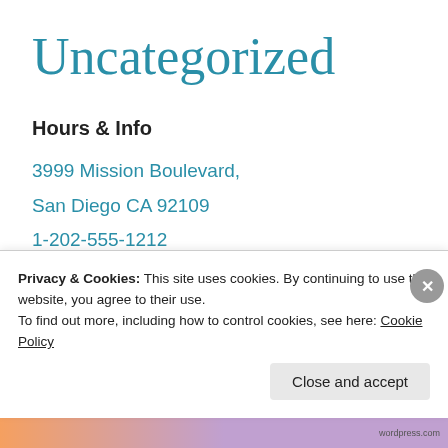Uncategorized
Hours & Info
3999 Mission Boulevard,
San Diego CA 92109
1-202-555-1212
Lunch: 11am - 2pm
Dinner: M-Th 5pm - 11pm, Fri-Sat:5pm - 1am
Privacy & Cookies: This site uses cookies. By continuing to use this website, you agree to their use.
To find out more, including how to control cookies, see here: Cookie Policy
Close and accept